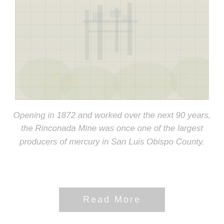[Figure (photo): A faded/washed-out photograph of what appears to be mining equipment and vegetation, representing the Rinconada Mine area in San Luis Obispo County.]
Opening in 1872 and worked over the next 90 years, the Rinconada Mine was once one of the largest producers of mercury in San Luis Obispo County.
Read More